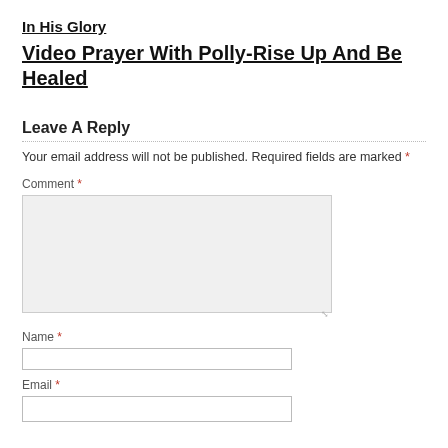In His Glory
Video Prayer With Polly-Rise Up And Be Healed
Leave A Reply
Your email address will not be published. Required fields are marked *
Comment *
Name *
Email *